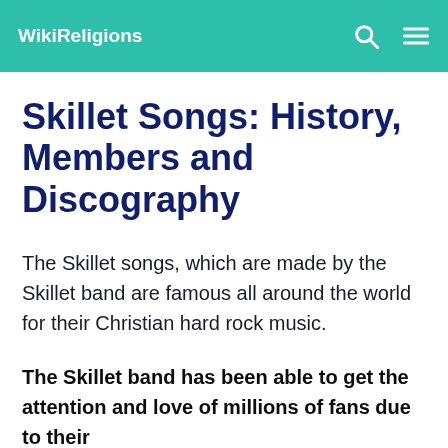WikiReligions
Skillet Songs: History, Members and Discography
The Skillet songs, which are made by the Skillet band are famous all around the world for their Christian hard rock music.
The Skillet band has been able to get the attention and love of millions of fans due to their